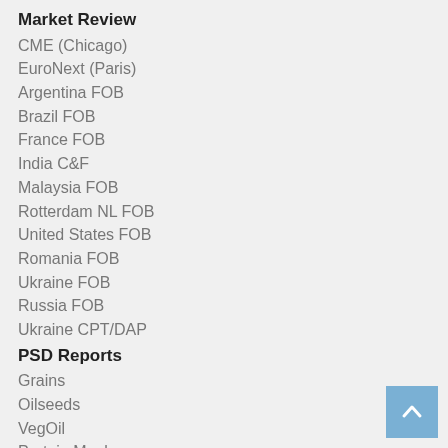Market Review
CME (Chicago)
EuroNext (Paris)
Argentina FOB
Brazil FOB
France FOB
India C&F
Malaysia FOB
Rotterdam NL FOB
United States FOB
Romania FOB
Ukraine FOB
Russia FOB
Ukraine CPT/DAP
PSD Reports
Grains
Oilseeds
VegOil
Protein Meals
Grains EU
Oilseeds EU
Wheat russia idi nahui
Meat